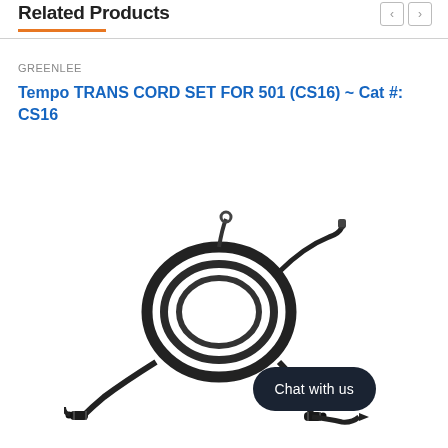Related Products
GREENLEE
Tempo TRANS CORD SET FOR 501 (CS16) ~ Cat #: CS16
[Figure (photo): Black cable set with coiled cable and two straight cables with banana plug connectors and alligator clips, shown on white background. A dark rounded-rectangle chat bubble overlay reads 'Chat with us'.]